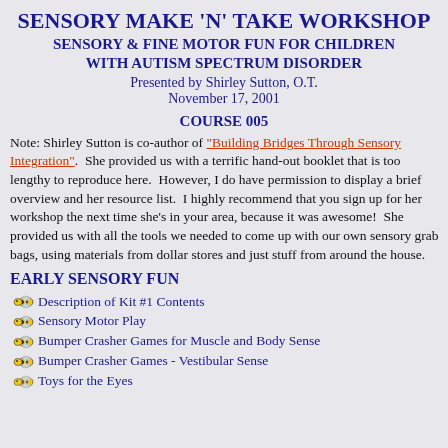SENSORY MAKE 'N' TAKE WORKSHOP
SENSORY & FINE MOTOR FUN FOR CHILDREN WITH AUTISM SPECTRUM DISORDER
Presented by Shirley Sutton, O.T.
November 17, 2001
COURSE 005
Note: Shirley Sutton is co-author of "Building Bridges Through Sensory Integration".  She provided us with a terrific hand-out booklet that is too lengthy to reproduce here.  However, I do have permission to display a brief overview and her resource list.  I highly recommend that you sign up for her workshop the next time she's in your area, because it was awesome!  She provided us with all the tools we needed to come up with our own sensory grab bags, using materials from dollar stores and just stuff from around the house.
EARLY SENSORY FUN
Description of Kit #1 Contents
Sensory Motor Play
Bumper Crasher Games for Muscle and Body Sense
Bumper Crasher Games - Vestibular Sense
Toys for the Eyes